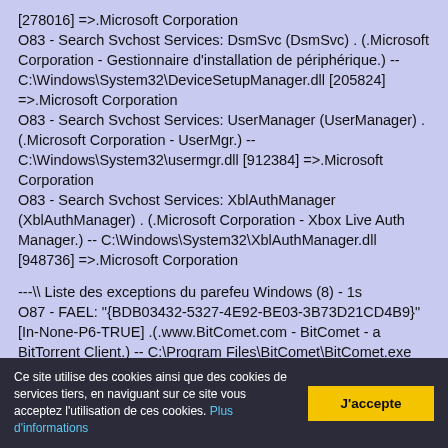[278016] =>.Microsoft Corporation
O83 - Search Svchost Services: DsmSvc (DsmSvc) . (.Microsoft Corporation - Gestionnaire d'installation de périphérique.) -- C:\Windows\System32\DeviceSetupManager.dll [205824] =>.Microsoft Corporation
O83 - Search Svchost Services: UserManager (UserManager) . (.Microsoft Corporation - UserMgr.) -- C:\Windows\System32\usermgr.dll [912384] =>.Microsoft Corporation
O83 - Search Svchost Services: XblAuthManager (XblAuthManager) . (.Microsoft Corporation - Xbox Live Auth Manager.) -- C:\Windows\System32\XblAuthManager.dll [948736] =>.Microsoft Corporation

---\\ Liste des exceptions du parefeu Windows (8) - 1s
O87 - FAEL: "{BDB03432-5327-4E92-BE03-3B73D21CD4B9}" [In-None-P6-TRUE] .(.www.BitComet.com - BitComet - a BitTorrent Client.) -- C:\Program Files\BitComet\BitComet.exe
Ce site utilise des cookies ainsi que des cookies de services tiers, en naviguant sur ce site vous acceptez l'utilisation de ces cookies. Plus d'informations
J'accepte